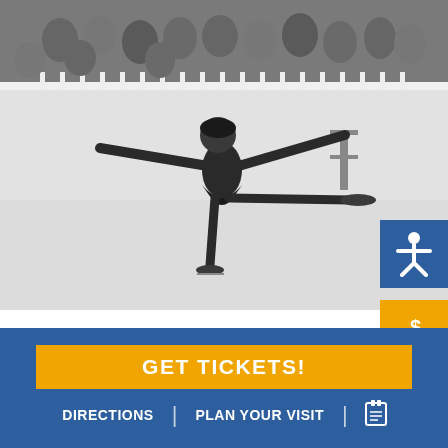[Figure (photo): Black and white photograph of figure skater Tenley Albright performing on ice, with arms extended and one leg raised, crowd visible in background bleachers]
After winning the gold medal at the Cortina d'Ampezzo 1956 Olympic Winter Games, Tenley Albright applied and was admitted to Harvard Medical School despite not finishing her undergraduate degree. (Photo courtesy
GET TICKETS!
DIRECTIONS | PLAN YOUR VISIT